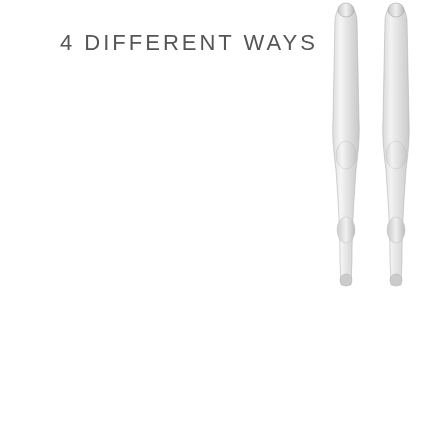4 DIFFERENT WAYS
[Figure (illustration): Two silver/chrome utensil handles (fork and knife or similar cutlery) shown from above, rendered in a detailed pencil/graphite illustration style, positioned vertically in the upper right corner of the page]